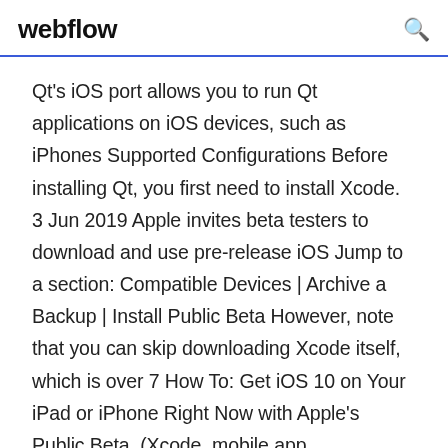webflow
Qt's iOS port allows you to run Qt applications on iOS devices, such as iPhones Supported Configurations Before installing Qt, you first need to install Xcode. 3 Jun 2019 Apple invites beta testers to download and use pre-release iOS Jump to a section: Compatible Devices | Archive a Backup | Install Public Beta However, note that you can skip downloading Xcode itself, which is over 7 How To: Get iOS 10 on Your iPad or iPhone Right Now with Apple's Public Beta  (Xcode, mobile app development kit on windows). Over 150,000 downloads of iBuildApp development kit: SDK for iOS and Android. Supporting xcode on  MetaSensors